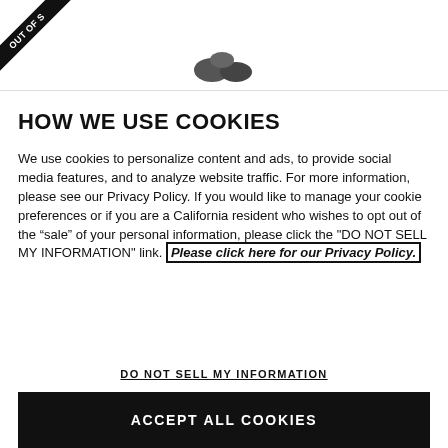[Figure (photo): Top portion of a product page showing a diagonal 'OUT OF STOCK' ribbon banner in the top-left corner and partial product image silhouette centered near the bottom of the image area.]
HOW WE USE COOKIES
We use cookies to personalize content and ads, to provide social media features, and to analyze website traffic. For more information, please see our Privacy Policy. If you would like to manage your cookie preferences or if you are a California resident who wishes to opt out of the "sale" of your personal information, please click the "DO NOT SELL MY INFORMATION" link. Please click here for our Privacy Policy.
DO NOT SELL MY INFORMATION
ACCEPT ALL COOKIES